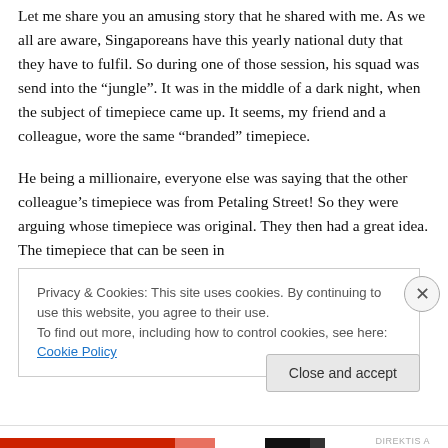Let me share you an amusing story that he shared with me. As we all are aware, Singaporeans have this yearly national duty that they have to fulfil. So during one of those session, his squad was send into the “jungle”. It was in the middle of a dark night, when the subject of timepiece came up. It seems, my friend and a colleague, wore the same “branded” timepiece.

He being a millionaire, everyone else was saying that the other colleague’s timepiece was from Petaling Street! So they were arguing whose timepiece was original. They then had a great idea. The timepiece that can be seen in
Privacy & Cookies: This site uses cookies. By continuing to use this website, you agree to their use.
To find out more, including how to control cookies, see here: Cookie Policy
Close and accept
DIREKTIS A